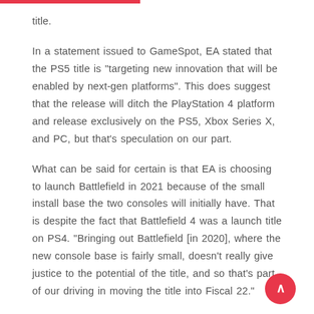title.

In a statement issued to GameSpot, EA stated that the PS5 title is "targeting new innovation that will be enabled by next-gen platforms". This does suggest that the release will ditch the PlayStation 4 platform and release exclusively on the PS5, Xbox Series X, and PC, but that's speculation on our part.

What can be said for certain is that EA is choosing to launch Battlefield in 2021 because of the small install base the two consoles will initially have. That is despite the fact that Battlefield 4 was a launch title on PS4. "Bringing out Battlefield [in 2020], where the new console base is fairly small, doesn't really give justice to the potential of the title, and so that's part of our decision in moving the title into Fiscal 22."